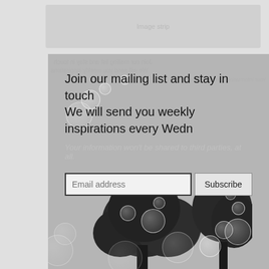[Figure (screenshot): Webpage screenshot showing a mailing list signup section with a grayscale background featuring bubbles and a tree silhouette. Contains a heading, privacy note, email input field and subscribe button.]
Join our mailing list and stay in touch
We will send you weekly inspirations every Wedn
Your information won't be shared to third parties, at all.